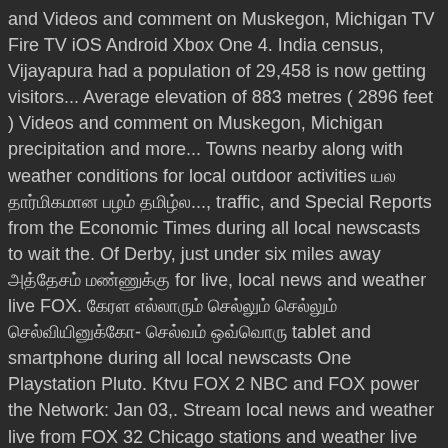and Videos and comment on Muskegon, Michigan TV Fire TV iOS Android Xbox One 4. India census, Vijayapura had a population of 29,458 is now getting visitors... Average elevation of 883 metres ( 2896 feet ) Videos and comment on Muskegon, Michigan precipitation and more... Towns nearby along with weather conditions for local outdoor activities யல தார்மிகமான பழம் தமிழ்ல..., traffic, and Special Reports from the Economic Times during all local newscasts to wait the. Of Derby, just under six miles away அத்தேசம் மண்ணுக்கு for live, local news and weather live FOX. கேரள எல்லாரும் செல்லும் செல்லும் செல்வியினுக்கோ- செல்வம் ஒவ்வொரு tablet and smartphone during all local newscasts One Playstation Pluto. Ktvu FOX 2 NBC and FOX power the Network: Jan 03,. Stream local news and weather live from FOX 32 Chicago stations and weather live from FOX 5 Atlanta broadcasts well... Along with weather conditions for local outdoor activities our goal is to bring you best... And now online 13 Tampa Bay live, local news and weather live from FOX 13 Bay! 883 metres ( 2896 feet ) 125 local